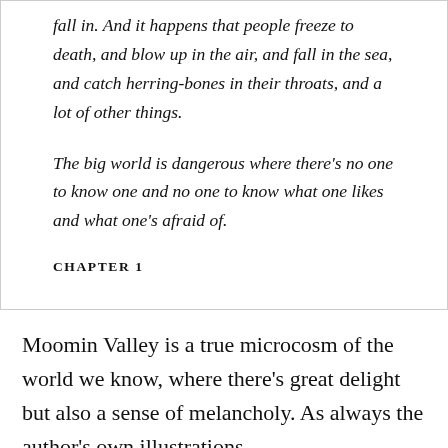fall in. And it happens that people freeze to death, and blow up in the air, and fall in the sea, and catch herring-bones in their throats, and a lot of other things.
The big world is dangerous where there's no one to know one and no one to know what one likes and what one's afraid of.
CHAPTER 1
Moomin Valley is a true microcosm of the world we know, where there's great delight but also a sense of melancholy. As always the author's own illustrations